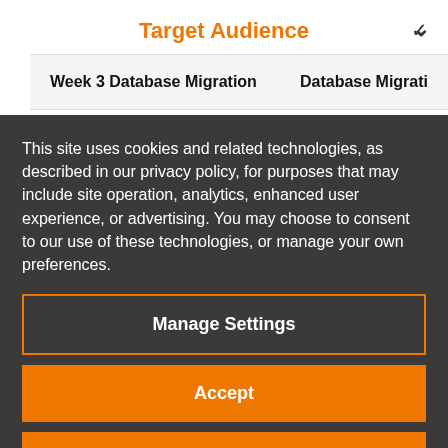Target Audience
Week 3 Database Migration    Database Migrati
This site uses cookies and related technologies, as described in our privacy policy, for purposes that may include site operation, analytics, enhanced user experience, or advertising. You may choose to consent to our use of these technologies, or manage your own preferences.
Manage Settings
Accept
Decline All
Privacy Policy